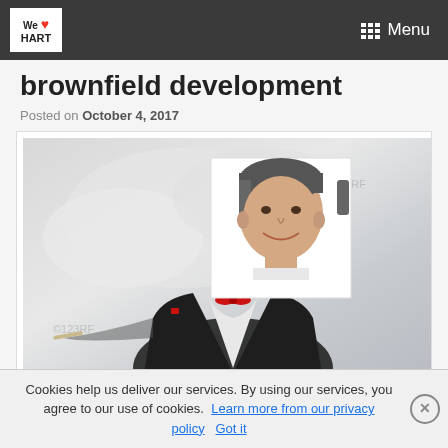We ❤ HART | Menu
brownfield development
Posted on October 4, 2017
[Figure (photo): A man in a dark pinstripe suit with a red bow tie and red pocket square, smiling, with grey hair, set against a light cloudy background. A stock photo watermark '123RF' is visible. The man's head appears as a separate inset photo overlaid on the main image.]
Cookies help us deliver our services. By using our services, you agree to our use of cookies. Learn more from our privacy policy  Got it